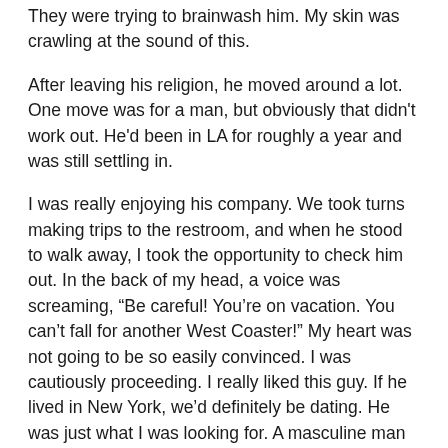They were trying to brainwash him. My skin was crawling at the sound of this.
After leaving his religion, he moved around a lot. One move was for a man, but obviously that didn't work out. He'd been in LA for roughly a year and was still settling in.
I was really enjoying his company. We took turns making trips to the restroom, and when he stood to walk away, I took the opportunity to check him out. In the back of my head, a voice was screaming, “Be careful! You’re on vacation. You can’t fall for another West Coaster!” My heart was not going to be so easily convinced. I was cautiously proceeding. I really liked this guy. If he lived in New York, we’d definitely be dating. He was just what I was looking for. A masculine man who had his life together and knew what he wanted in life.